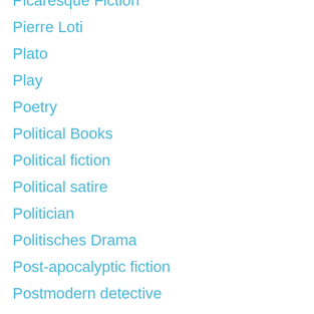Picaresque Fiction
Pierre Loti
Plato
Play
Poetry
Political Books
Political fiction
Political satire
Politician
Politisches Drama
Post-apocalyptic fiction
Postmodern detective
Postmodern novel